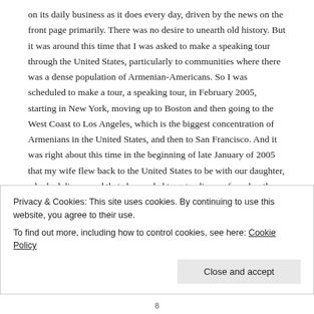on its daily business as it does every day, driven by the news on the front page primarily. There was no desire to unearth old history. But it was around this time that I was asked to make a speaking tour through the United States, particularly to communities where there was a dense population of Armenian-Americans. So I was scheduled to make a tour, a speaking tour, in February 2005, starting in New York, moving up to Boston and then going to the West Coast to Los Angeles, which is the biggest concentration of Armenians in the United States, and then to San Francisco. And it was right about this time in the beginning of late January of 2005 that my wife flew back to the United States to be with our daughter, who had discovered that she needed to get a divorce from her then-husband and she was emotionally a wreck. So my wife came back to the United States, leaving me in Yerevan with a lot of books to read, and one of those books was the very fine Pulitzer Prize...
Privacy & Cookies: This site uses cookies. By continuing to use this website, you agree to their use.
To find out more, including how to control cookies, see here: Cookie Policy
Close and accept